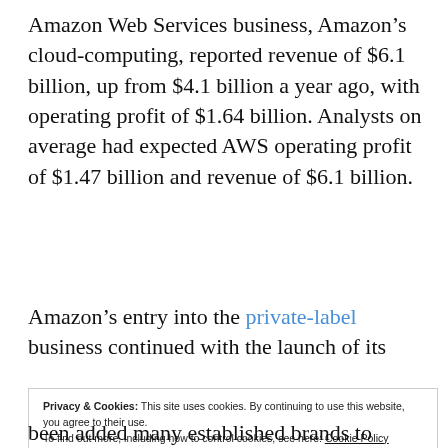Amazon Web Services business, Amazon's cloud-computing, reported revenue of $6.1 billion, up from $4.1 billion a year ago, with operating profit of $1.64 billion. Analysts on average had expected AWS operating profit of $1.47 billion and revenue of $6.1 billion.
Amazon's entry into the private-label business continued with the launch of its
Privacy & Cookies: This site uses cookies. By continuing to use this website, you agree to their use.
To find out more, including how to control cookies, see here: Cookie Policy
been added many established brands to